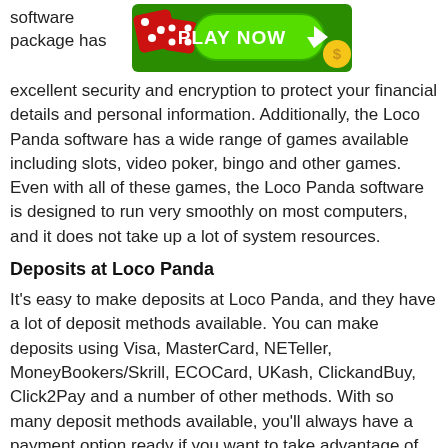software package has excellent security and encryption to protect your financial details and personal information. Additionally, the Loco Panda software has a wide range of games available including slots, video poker, bingo and other games. Even with all of these games, the Loco Panda software is designed to run very smoothly on most computers, and it does not take up a lot of system resources.
[Figure (illustration): Casino banner with dice and 'PLAY NOW' green button and coin graphic on green background]
Deposits at Loco Panda
It's easy to make deposits at Loco Panda, and they have a lot of deposit methods available. You can make deposits using Visa, MasterCard, NETeller, MoneyBookers/Skrill, ECOCard, UKash, ClickandBuy, Click2Pay and a number of other methods. With so many deposit methods available, you'll always have a payment option ready if you want to take advantage of one of the many bonuses that Loco Panda offers on a regular basis.
Loco Panda Withdrawals